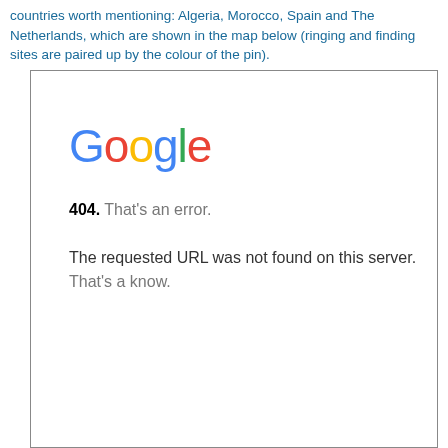countries worth mentioning: Algeria, Morocco, Spain and The Netherlands, which are shown in the map below (ringing and finding sites are paired up by the colour of the pin).
[Figure (screenshot): Google 404 error page screenshot showing the Google logo and the message: '404. That's an error. The requested URL was not found on this server. That's a know.']